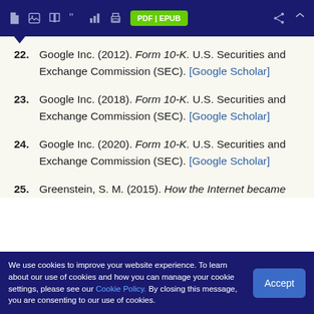Toolbar with PDF | EPUB buttons
22. Google Inc. (2012). Form 10-K. U.S. Securities and Exchange Commission (SEC). [Google Scholar]
23. Google Inc. (2018). Form 10-K. U.S. Securities and Exchange Commission (SEC). [Google Scholar]
24. Google Inc. (2020). Form 10-K. U.S. Securities and Exchange Commission (SEC). [Google Scholar]
25. Greenstein, S. M. (2015). How the Internet became
We use cookies to improve your website experience. To learn about our use of cookies and how you can manage your cookie settings, please see our Cookie Policy. By closing this message, you are consenting to our use of cookies.